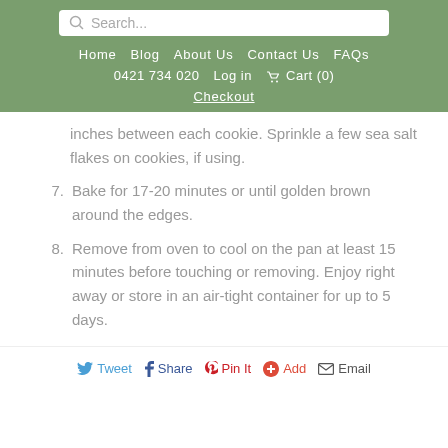Search... | Home | Blog | About Us | Contact Us | FAQs | 0421 734 020 | Log in | Cart (0) | Checkout
inches between each cookie. Sprinkle a few sea salt flakes on cookies, if using.
7. Bake for 17-20 minutes or until golden brown around the edges.
8. Remove from oven to cool on the pan at least 15 minutes before touching or removing. Enjoy right away or store in an air-tight container for up to 5 days.
Tweet | Share | Pin It | Add | Email